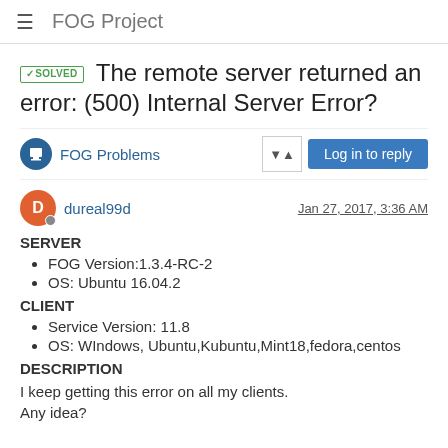FOG Project
✓SOLVED  The remote server returned an error: (500) Internal Server Error?
FOG Problems
dureal99d  Jan 27, 2017, 3:36 AM
SERVER
FOG Version:1.3.4-RC-2
OS: Ubuntu 16.04.2
CLIENT
Service Version: 11.8
OS: WIndows, Ubuntu,Kubuntu,Mint18,fedora,centos
DESCRIPTION
I keep getting this error on all my clients.
Any idea?